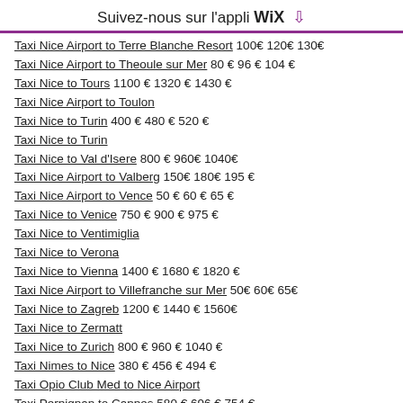Suivez-nous sur l'appli WIX ⬇
Taxi Nice Airport to Terre Blanche Resort  100€ 120€ 130€
Taxi Nice Airport to Theoule sur Mer  80€ 96€ 104€
Taxi Nice to Tours  1100€ 1320€ 1430€
Taxi Nice Airport to Toulon
Taxi Nice to Turin  400€ 480€ 520€
Taxi Nice to Turin
Taxi Nice to Val d'Isere  800€ 960€ 1040€
Taxi Nice Airport to Valberg  150€ 180€ 195€
Taxi Nice Airport to Vence  50€ 60€ 65€
Taxi Nice to Venice  750€ 900€ 975€
Taxi Nice to Ventimiglia
Taxi Nice to Verona
Taxi Nice to Vienna  1400€ 1680€ 1820€
Taxi Nice Airport to Villefranche sur Mer  50€ 60€ 65€
Taxi Nice to Zagreb  1200€ 1440€ 1560€
Taxi Nice to Zermatt
Taxi Nice to Zurich  800€ 960€ 1040€
Taxi Nimes to Nice  380€ 456€ 494€
Taxi Opio Club Med to Nice Airport
Taxi Perpignan to Cannes  580€ 696€ 754€
Taxi Perpignan to Monaco  650€ 780€ 845€